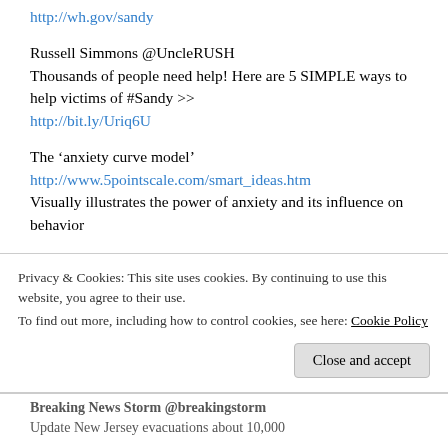http://wh.gov/sandy
Russell Simmons @UncleRUSH
Thousands of people need help! Here are 5 SIMPLE ways to help victims of #Sandy >> http://bit.ly/Uriq6U
The 'anxiety curve model'
http://www.5pointscale.com/smart_ideas.htm
Visually illustrates the power of anxiety and its influence on behavior
A Boy and a Bear
Privacy & Cookies: This site uses cookies. By continuing to use this website, you agree to their use.
To find out more, including how to control cookies, see here: Cookie Policy
Close and accept
Breaking News Storm @breakingstorm
Update New Jersey evacuations about 10,000